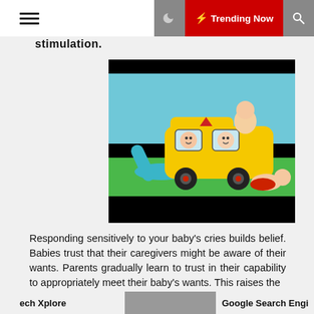≡  🌙  ⚡ Trending Now  🔍
stimulation.
[Figure (photo): Photo of babies playing on a yellow school bus shaped playground toy with a blue slide, against a colorful backdrop with blue sky and green ground.]
Responding sensitively to your baby's cries builds belief. Babies trust that their caregivers might be aware of their wants. Parents gradually learn to trust in their capability to appropriately meet their baby's wants. This raises the
ech Xplore    Google Search Engi